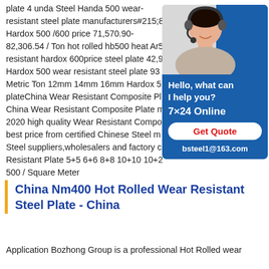plate 4 unda Steel Handa 500 wear-resistant steel plate manufacturers#215;8 Hardox 500 /600 price 71,570.90-82,306.54 / Ton hot rolled hb500 heat Ar5 resistant hardox 600price steel plate 42,9 Hardox 500 wear resistant steel plate 93 Metric Ton 12mm 14mm 16mm Hardox 5 plateChina Wear Resistant Composite Pl China Wear Resistant Composite Plate m 2020 high quality Wear Resistant Compo best price from certified Chinese Steel m Steel suppliers,wholesalers and factory c Resistant Plate 5+5 6+6 8+8 10+10 10+2 500 / Square Meter
[Figure (photo): Customer service representative wearing a headset, with blue background. Chat widget showing 'Hello, what can I help you?', '7x24 Online', 'Get Quote' button, and 'bsteel1@163.com']
China Nm400 Hot Rolled Wear Resistant Steel Plate - China
Application Bozhong Group is a professional Hot Rolled wear